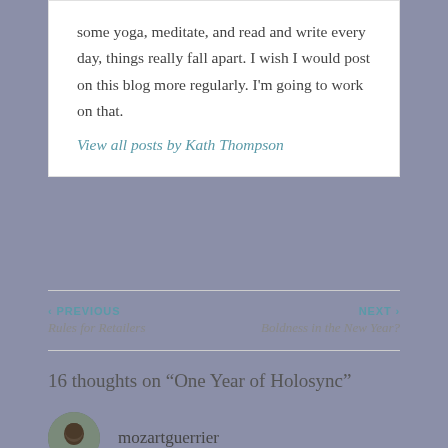some yoga, meditate, and read and write every day, things really fall apart. I wish I would post on this blog more regularly. I'm going to work on that.
View all posts by Kath Thompson
‹ PREVIOUS
Rules for Retailers
NEXT ›
Boldness in the New Year?
16 thoughts on “One Year of Holosync”
mozartguerrier